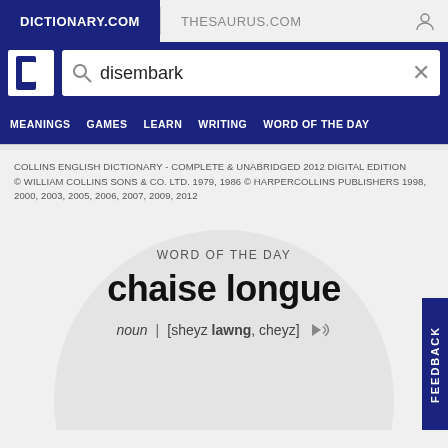DICTIONARY.COM | THESAURUS.COM
[Figure (screenshot): Dictionary.com logo with letter D in blue and white]
disembark
MEANINGS  GAMES  LEARN  WRITING  WORD OF THE DAY
COLLINS ENGLISH DICTIONARY - COMPLETE & UNABRIDGED 2012 DIGITAL EDITION
© WILLIAM COLLINS SONS & CO. LTD. 1979, 1986 © HARPERCOLLINS PUBLISHERS 1998, 2000, 2003, 2005, 2006, 2007, 2009, 2012
WORD OF THE DAY
chaise longue
noun | [sheyz lawng, cheyz]